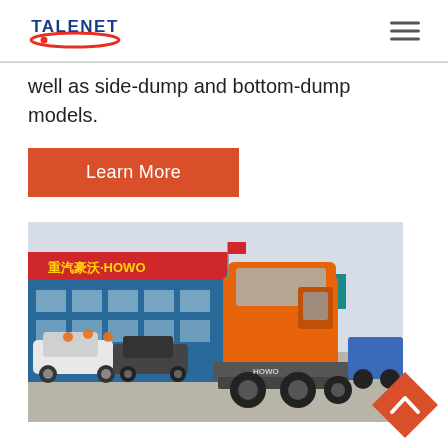[Figure (logo): Talenet logo with red swoosh and blue text]
well as side-dump and bottom-dump models.
Learn More
[Figure (photo): Orange HOWO truck rear view at a Chinese dealership/showroom lot with commercial buildings in background]
[Figure (other): Orange diamond-shaped back-to-top button with upward chevron arrow]